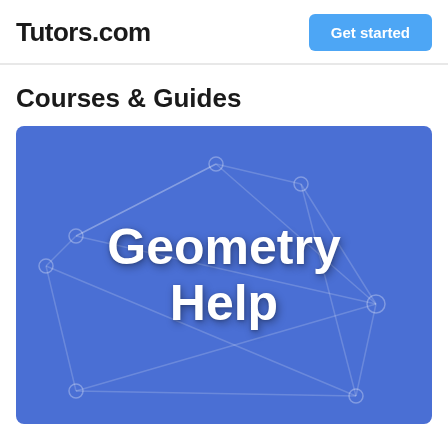Tutors.com
Get started
Courses & Guides
[Figure (illustration): Blue banner card with geometric network/polygon line art in the background and bold white text reading 'Geometry Help' in the center.]